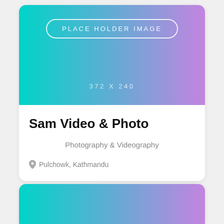[Figure (illustration): Placeholder image card with teal-to-purple gradient background showing 'PLACE HOLDER IMAGE' text in a pill-shaped border and '372 X 240' dimensions text centered below]
Sam Video & Photo
Photography & Videography
Pulchowk, Kathmandu
[Figure (illustration): Second card showing only the top portion of a teal-to-purple gradient placeholder image]